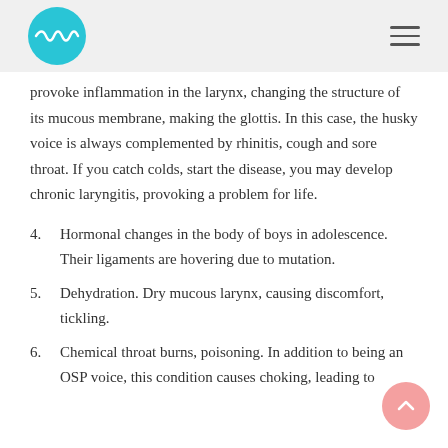Medical health website header with logo and hamburger menu
provoke inflammation in the larynx, changing the structure of its mucous membrane, making the glottis. In this case, the husky voice is always complemented by rhinitis, cough and sore throat. If you catch colds, start the disease, you may develop chronic laryngitis, provoking a problem for life.
4. Hormonal changes in the body of boys in adolescence. Their ligaments are hovering due to mutation.
5. Dehydration. Dry mucous larynx, causing discomfort, tickling.
6. Chemical throat burns, poisoning. In addition to being an OSP voice, this condition causes choking, leading to